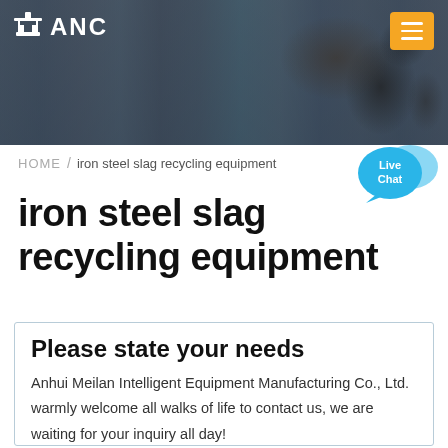[Figure (photo): Header banner with factory/industrial background and microphones on the right side, with ANC logo on left and orange hamburger menu button on right]
ANC
HOME / iron steel slag recycling equipment
iron steel slag recycling equipment
Please state your needs
Anhui Meilan Intelligent Equipment Manufacturing Co., Ltd. warmly welcome all walks of life to contact us, we are waiting for your inquiry all day!